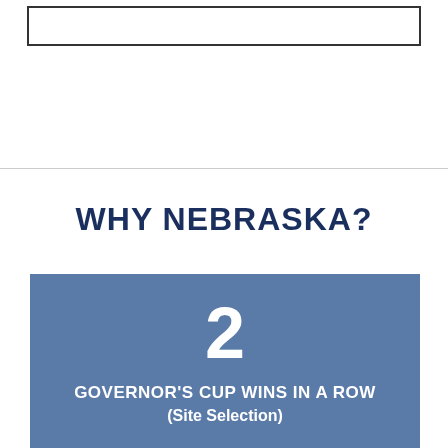[Figure (other): Top border box outline rectangle]
WHY NEBRASKA?
2
GOVERNOR'S CUP WINS IN A ROW (Site Selection)